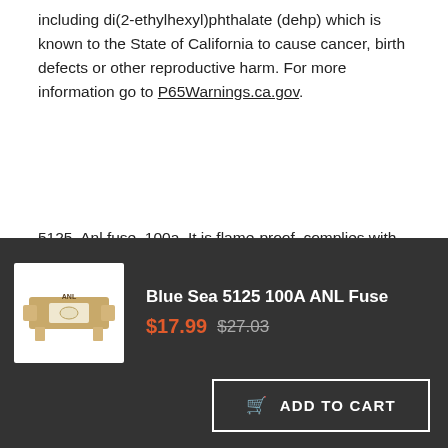including di(2-ethylhexyl)phthalate (dehp) which is known to the State of California to cause cancer, birth defects or other reproductive harm. For more information go to P65Warnings.ca.gov.
5125. Anl fuse. 100a. It is flame-proof, complies with SAE J1171- regulations, and can be safely installed on gasoline-powered ships. . Visible indication of blowing conditions. The interruption capacity aic of 6,000 amperes meets the basic requirements for the protection of the main DC circuit
[Figure (photo): Photo of Blue Sea 5125 100A ANL Fuse - a gold/tan colored blade-style fuse with ANL label on white background]
Blue Sea 5125 100A ANL Fuse
$17.99 $27.03
ADD TO CART